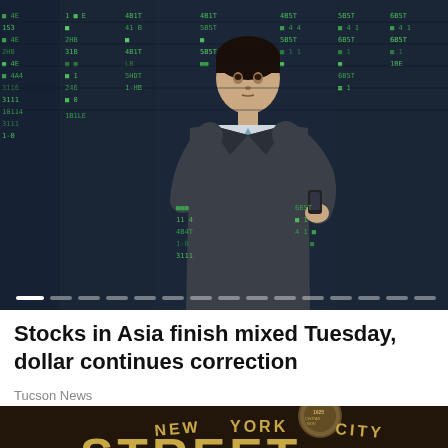[Figure (photo): A businessman in a suit talking on a phone in front of a stock market board with green ticker data]
Stocks in Asia finish mixed Tuesday, dollar continues correction
Tucson News
[Figure (photo): Close-up of a New York City seal/medallion on a dark surface with the word STREET visible at the bottom]